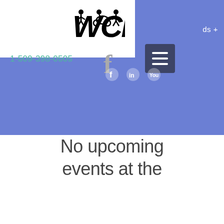[Figure (logo): WCF logo with silhouettes of people running/cycling and bold stylized text]
ds +
1-509-398-0505
[Figure (illustration): Facebook 'f' icon in gray]
[Figure (illustration): Hamburger menu button (three horizontal lines) on dark blue/gray background]
[Figure (illustration): Social media icons on blue bar]
No upcoming events at the